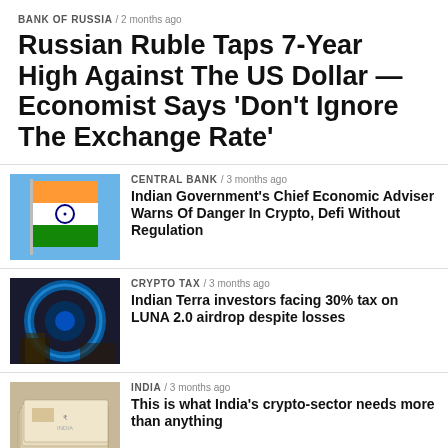BANK OF RUSSIA / 2 months ago
Russian Ruble Taps 7-Year High Against The US Dollar — Economist Says ‘Don’t Ignore The Exchange Rate’
CENTRAL BANK / 3 months ago
[Figure (photo): Indian national flag waving against blue sky]
Indian Government’s Chief Economic Adviser Warns Of Danger In Crypto, Defi Without Regulation
CRYPTO TAX / 3 months ago
[Figure (photo): Blue glowing digital/crypto themed image with circular frame]
Indian Terra investors facing 30% tax on LUNA 2.0 airdrop despite losses
INDIA / 3 months ago
[Figure (photo): Indian currency rupee notes fanned out]
This is what India’s crypto-sector needs more than anything